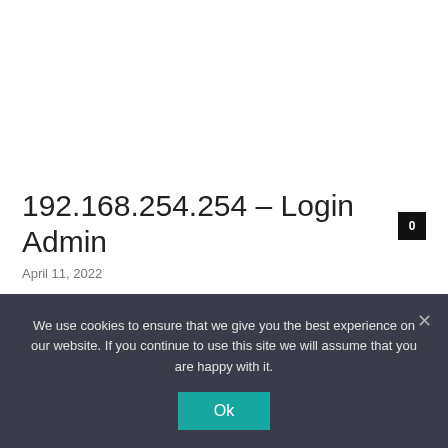192.168.254.254 – Login Admin
April 11, 2022
0
🇺🇸  English
We use cookies to ensure that we give you the best experience on our website. If you continue to use this site we will assume that you are happy with it.
Ok